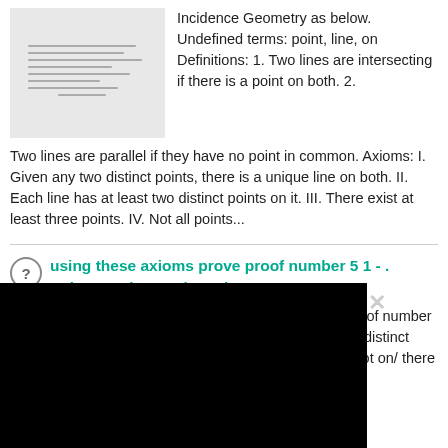[Figure (photo): Thumbnail image of a handwritten document about Incidence Geometry]
Incidence Geometry as below. Undefined terms: point, line, on Definitions: 1. Two lines are intersecting if there is a point on both. 2. Two lines are parallel if they have no point in common. Axioms: I. Given any two distinct points, there is a unique line on both. II. Each line has at least two distinct points on it. III. There exist at least three points. IV. Not all points...
using these axioms prove proof number 5 1 - . Axiom 1: There exist at least...
[Figure (photo): Thumbnail image of a handwritten document]
using these axioms prove proof number 5 1 - . he point and at ny two distinct incident with nts are on the not on/ there hat / is parallel parallet,...
[Figure (other): Black overlay/video panel covering lower left portion of the page]